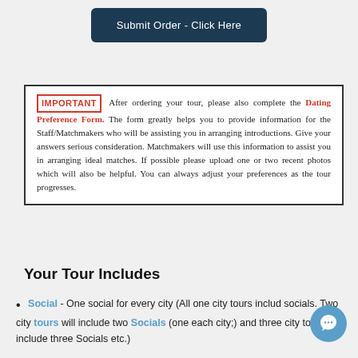Submit Order - Click Here
IMPORTANT After ordering your tour, please also complete the Dating Preference Form. The form greatly helps you to provide information for the Staff/Matchmakers who will be assisting you in arranging introductions. Give your answers serious consideration. Matchmakers will use this information to assist you in arranging ideal matches. If possible please upload one or two recent photos which will also be helpful. You can always adjust your preferences as the tour progresses.
Your Tour Includes
Social - One social for every city (All one city tours include two socials. Two city tours will include two Socials (one each city;) and three city tours will include three Socials etc.)